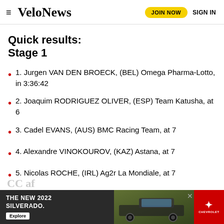VeloNews — JOIN NOW  SIGN IN
Quick results:
Stage 1
1. Jurgen VAN DEN BROECK, (BEL) Omega Pharma-Lotto, in 3:36:42
2. Joaquim RODRIGUEZ OLIVER, (ESP) Team Katusha, at 6
3. Cadel EVANS, (AUS) BMC Racing Team, at 7
4. Alexandre VINOKOUROV, (KAZ) Astana, at 7
5. Nicolas ROCHE, (IRL) Ag2r La Mondiale, at 7
[Figure (photo): Advertisement: The New 2022 Silverado. Chevrolet truck ad banner at bottom of page.]